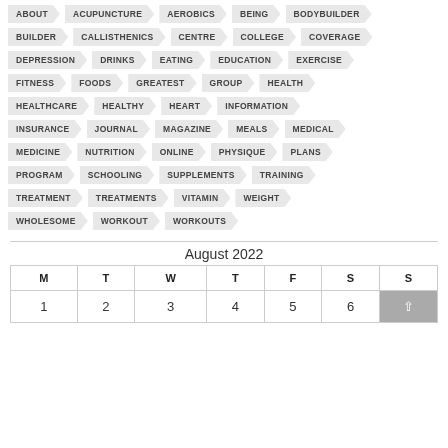[Figure (infographic): Tag cloud with health/fitness related keywords displayed as arrow-shaped pill tags arranged in rows]
August 2022
| M | T | W | T | F | S | S |
| --- | --- | --- | --- | --- | --- | --- |
| 1 | 2 | 3 | 4 | 5 | 6 | 7 |